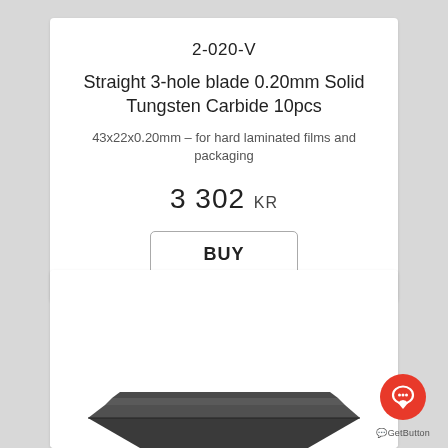2-020-V
Straight 3-hole blade 0.20mm Solid Tungsten Carbide 10pcs
43x22x0.20mm – for hard laminated films and packaging
3 302 KR
BUY
[Figure (photo): Photo of a straight blade product, partially visible at bottom of page]